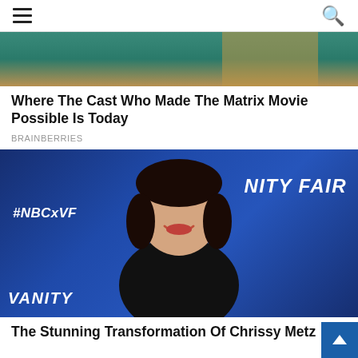Navigation menu and search icon
[Figure (photo): Partial top portion of an image with teal/green background and partial torso visible]
Where The Cast Who Made The Matrix Movie Possible Is Today
BRAINBERRIES
[Figure (photo): Woman smiling at a Vanity Fair x NBC event (#NBCxVF), wearing black outfit, standing in front of blue Vanity Fair backdrop]
The Stunning Transformation Of Chrissy Metz